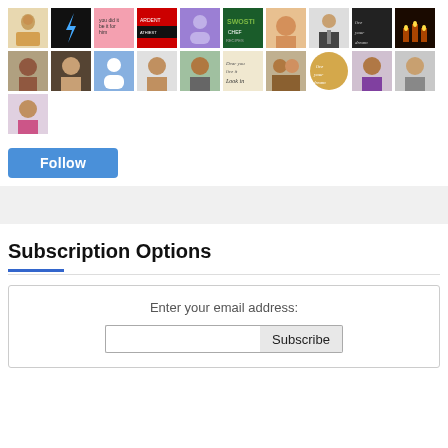[Figure (other): Grid of 21 social media follower avatar thumbnails arranged in 3 rows]
Follow
Subscription Options
Enter your email address:
Subscribe